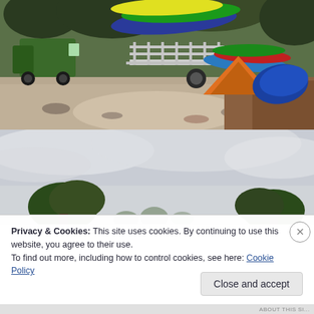[Figure (photo): Outdoor scene showing a kayak trailer loaded with colorful kayaks on a dirt/gravel path, with tents and trees in the background and a green vehicle on the left.]
[Figure (photo): Overcast sky with trees at the bottom, partially obscured by a cookie consent banner overlay.]
Privacy & Cookies: This site uses cookies. By continuing to use this website, you agree to their use.
To find out more, including how to control cookies, see here: Cookie Policy
Close and accept